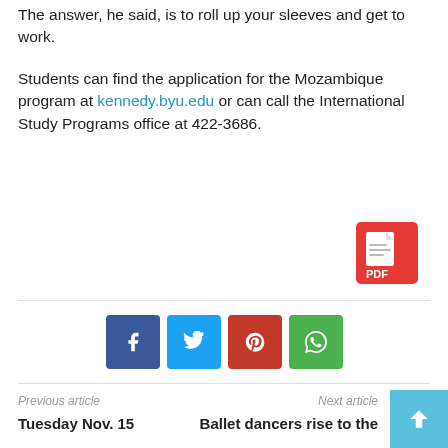The answer, he said, is to roll up your sleeves and get to work.
Students can find the application for the Mozambique program at kennedy.byu.edu or can call the International Study Programs office at 422-3686.
[Figure (other): PDF document icon — red square with white PDF label and document lines]
[Figure (other): Social share buttons: Facebook (dark blue), Twitter (light blue), Pinterest (red), WhatsApp (green)]
Previous article
Next article
Tuesday Nov. 15
Ballet dancers rise to the